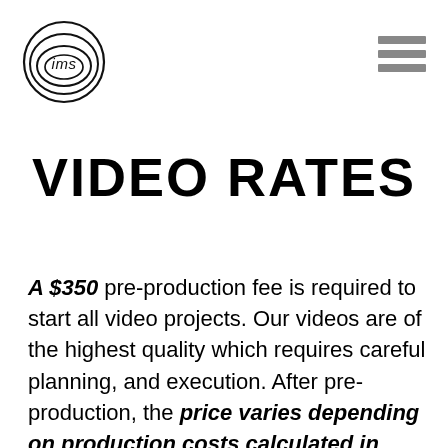[Figure (logo): IMS circular logo with concentric rings and the letters 'ims' in the center]
[Figure (other): Hamburger menu icon — three horizontal gray bars stacked vertically]
VIDEO RATES
A $350 pre-production fee is required to start all video projects. Our videos are of the highest quality which requires careful planning, and execution. After pre-production, the price varies depending on production costs calculated in pre-production. The final